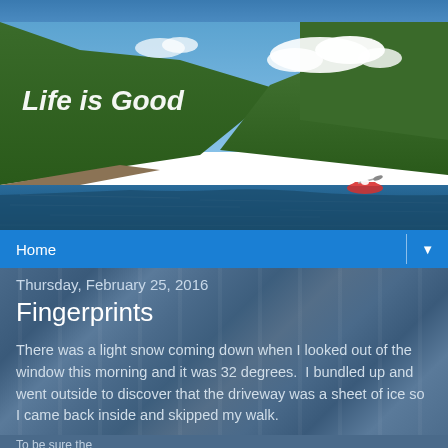[Figure (photo): Scenic lake or reservoir surrounded by forested green hills under a partly cloudy blue sky; a kayaker in a red boat is visible in the right-center of the water. The blog header title 'Life is Good' appears in white italic text in the upper-left corner over the photo.]
Home
Thursday, February 25, 2016
Fingerprints
There was a light snow coming down when I looked out of the window this morning and it was 32 degrees.  I bundled up and went outside to discover that the driveway was a sheet of ice so I came back inside and skipped my walk.
To be sure the...